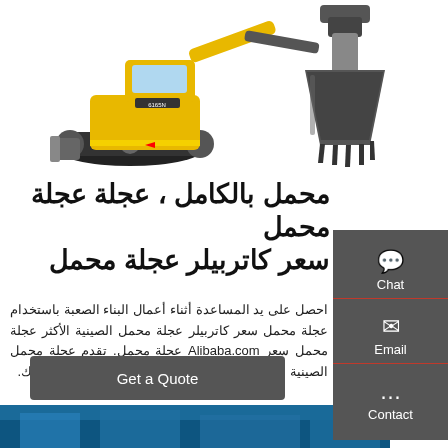[Figure (photo): Yellow mini excavator / bulldozer with tracks and blade on white background]
[Figure (photo): Excavator bucket attachment on white background]
محمل بالكامل ، عجلة عجلة محمل سعر كاتربيلر عجلة محمل
احصل على يد المساعدة أثناء أعمال البناء الصعبة باستخدام عجلة محمل سعر كاتربيلر عجلة محمل الصينية الأكثر عجلة محمل سعر Alibaba.com عجلة محمل. تقدم عجلة محمل الصينية عجلة محمل لجميع تجار التجزئة وتجار الجملة هناك.
Get a Quote
[Figure (photo): Blue/teal construction scene at bottom strip]